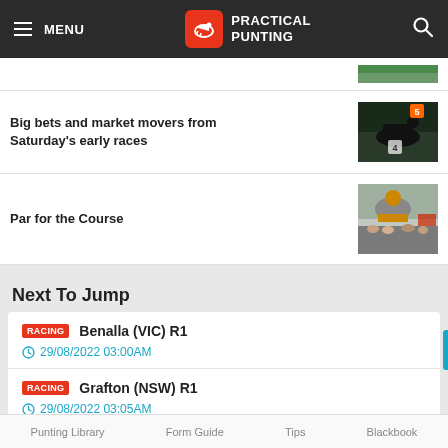MENU | PRACTICAL PUNTING
Big bets and market movers from Saturday's early races
Par for the Course
Next To Jump
RACING Benalla (VIC) R1 | 29/08/2022 03:00AM
RACING Grafton (NSW) R1 | 29/08/2022 03:05AM
RACING Tamworth (NSW) R1 | 29/08/2022 03:25AM
Punting Library   Form Guide   Tips   Blackbook